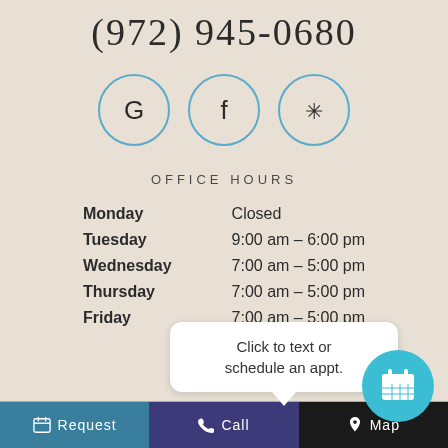(972) 945-0680
[Figure (infographic): Three circular social media icon buttons with teal/blue outlines: Google (G), Facebook (f), and Yelp (asterisk/snowflake symbol)]
OFFICE HOURS
| Day | Hours |
| --- | --- |
| Monday | Closed |
| Tuesday | 9:00 am – 6:00 pm |
| Wednesday | 7:00 am – 5:00 pm |
| Thursday | 7:00 am – 5:00 pm |
| Friday | 7:00 am – 5:00 pm |
Click to text or schedule an appt.
Request   Call   Map